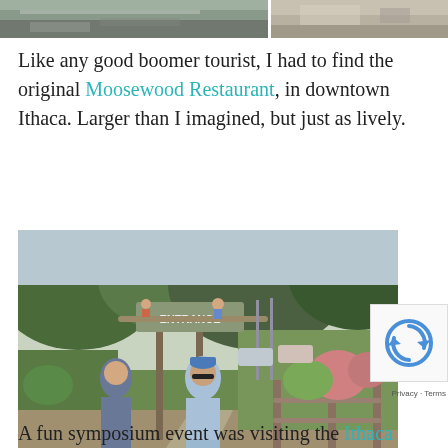[Figure (photo): Partial top strip showing two photos of outdoor/indoor scenes cropped at top of page]
Like any good boomer tourist, I had to find the original Moosewood Restaurant, in downtown Ithaca. Larger than I imagined, but just as lively.
[Figure (photo): Two people walking at the entrance to a community garden in Ithaca, with a wooden sign reading ENTRANCE, lush greenery and a reCAPTCHA badge overlay in bottom right]
A fun symposium event was visiting the Ithaca